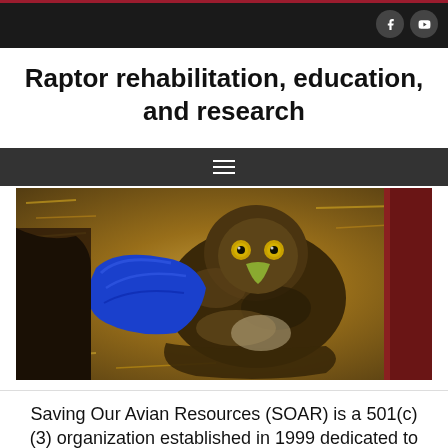Raptor rehabilitation, education, and research
[Figure (photo): A young raptor (hawk or eagle) with a blue bandage/cast on its wing, resting on wood shavings bedding inside a container, looking directly at the camera.]
Saving Our Avian Resources (SOAR) is a 501(c)(3) organization established in 1999 dedicated to saving our avian resources